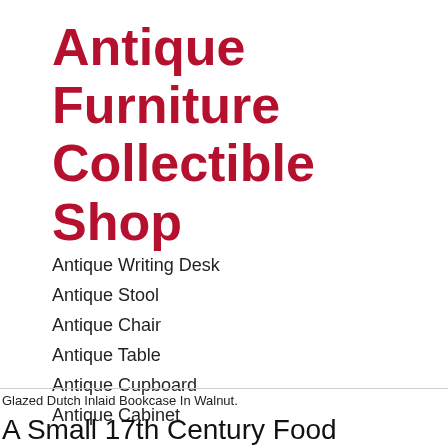Antique Furniture Collectible Shop
Antique Writing Desk
Antique Stool
Antique Chair
Antique Table
Antique Cupboard
Antique Cabinet
Glazed Dutch Inlaid Bookcase In Walnut.
A Small 17th Century Food Cupboard